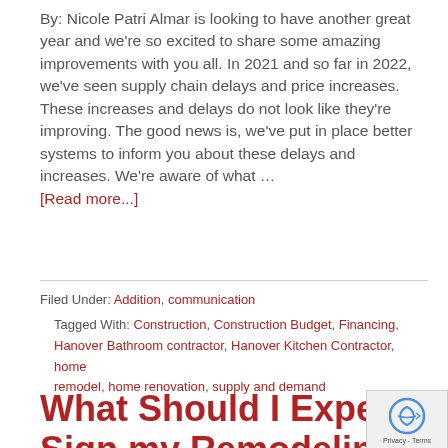By: Nicole Patri Almar is looking to have another great year and we're so excited to share some amazing improvements with you all. In 2021 and so far in 2022, we've seen supply chain delays and price increases. These increases and delays do not look like they're improving. The good news is, we've put in place better systems to inform you about these delays and increases. We're aware of what … [Read more...]
Filed Under: Addition, communication
Tagged With: Construction, Construction Budget, Financing, Hanover Bathroom contractor, Hanover Kitchen Contractor, home remodel, home renovation, supply and demand
What Should I Expect Once I Sign my Remodeling Contract?